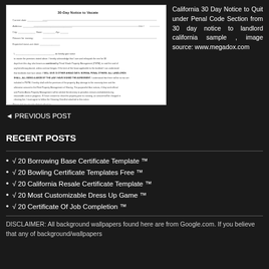[Figure (other): Thumbnail image of a California 30 Day Notice to Vacate legal form document]
California 30 Day Notice to Quit under Penal Code Section from 30 day notice to landlord california sample , image source: www.megadox.com
◄ PREVIOUS POST
RECENT POSTS
√ 20 Borrowing Base Certificate Template ™
√ 20 Bowling Certificate Templates Free ™
√ 20 California Resale Certificate Template ™
√ 20 Most Customizable Dress Up Game ™
√ 20 Certificate Of Job Completion ™
DISCLAIMER: All background wallpapers found here are from Google.com. If you believe that any of background/wallpapers